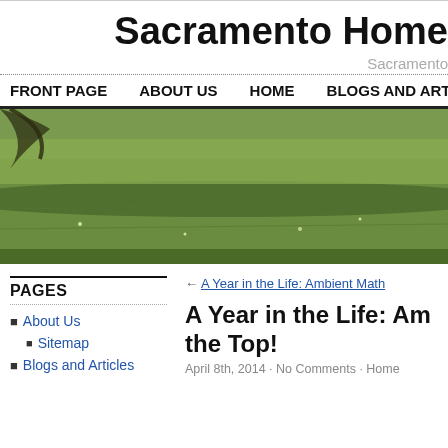Sacramento Home
Sacramento
FRONT PAGE   ABOUT US   HOME   BLOGS AND ART
[Figure (photo): Outdoor photo of a green grass field with trees in the background and shadows across the lawn]
PAGES
About Us
Sitemap
Blogs and Articles
← A Year in the Life: Ambient Math
A Year in the Life: Am... the Top!
April 8th, 2014 · No Comments · Home